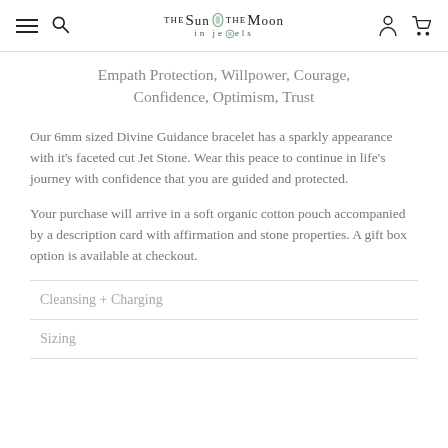THE SUN THE MOON in jewels
Empath Protection, Willpower, Courage, Confidence, Optimism, Trust
Our 6mm sized Divine Guidance bracelet has a sparkly appearance with it's faceted cut Jet Stone. Wear this peace to continue in life's journey with confidence that you are guided and protected.
Your purchase will arrive in a soft organic cotton pouch accompanied by a description card with affirmation and stone properties. A gift box option is available at checkout.
Cleansing + Charging
Sizing